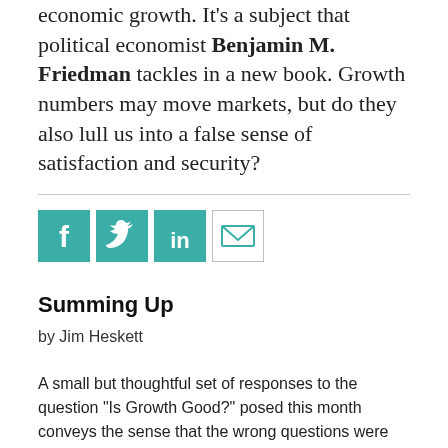economic growth. It's a subject that political economist Benjamin M. Friedman tackles in a new book. Growth numbers may move markets, but do they also lull us into a false sense of satisfaction and security?
[Figure (infographic): Social media sharing icons: Facebook (teal square with f), Twitter (teal square with bird), LinkedIn (teal square with in), Email (white square with envelope outline)]
Summing Up
by Jim Heskett
A small but thoughtful set of responses to the question "Is Growth Good?" posed this month conveys the sense that the wrong questions were asked. According to the